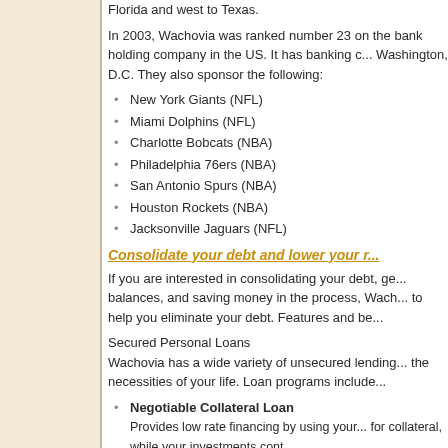Florida and west to Texas.
In 2003, Wachovia was ranked number 23 on the bank holding company in the US. It has banking c... Washington, D.C. They also sponsor the following:
New York Giants (NFL)
Miami Dolphins (NFL)
Charlotte Bobcats (NBA)
Philadelphia 76ers (NBA)
San Antonio Spurs (NBA)
Houston Rockets (NBA)
Jacksonville Jaguars (NFL)
Consolidate your debt and lower your r...
If you are interested in consolidating your debt, ge... balances, and saving money in the process, Wach... to help you eliminate your debt. Features and be...
Secured Personal Loans
Wachovia has a wide variety of unsecured lending... the necessities of your life. Loan programs include...
Negotiable Collateral Loan – Provides low rate financing by using your... for collateral, while your investments cont...
Miscellaneous Secured Loan – Use your purchase as collateral to give yo...
Home Equity Loan Products (Not available in Texa...
Fixed monthly payments;
Interest may be tax deductible;
Low closing costs;
Borrow up to 100% of the value of your h...